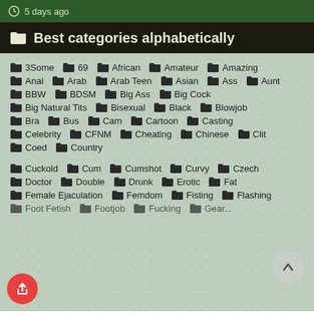5 days ago
Best categories alphabetically
3Some, 69, African, Amateur, Amazing
Anal, Arab, Arab Teen, Asian, Ass, Aunt
BBW, BDSM, Big Ass, Big Cock
Big Natural Tits, Bisexual, Black, Blowjob
Bra, Bus, Cam, Cartoon, Casting
Celebrity, CFNM, Cheating, Chinese, Clit
Coed, Country
Cuckold, Cum, Cumshot, Curvy, Czech
Doctor, Double, Drunk, Erotic, Fat
Female Ejaculation, Femdom, Fisting, Flashing
Foot Fetish, Footjob, Fucking, Gear...